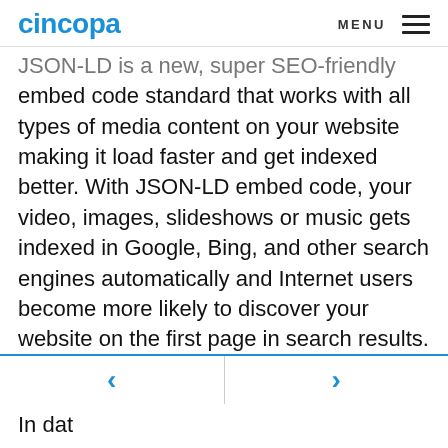cincopa   MENU ☰
JSON-LD is a new, super SEO-friendly embed code standard that works with all types of media content on your website making it load faster and get indexed better. With JSON-LD embed code, your video, images, slideshows or music gets indexed in Google, Bing, and other search engines automatically and Internet users become more likely to discover your website on the first page in search results.
In dat...